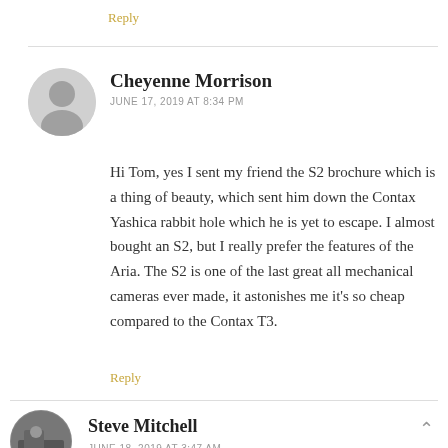Reply
Cheyenne Morrison
JUNE 17, 2019 AT 8:34 PM
Hi Tom, yes I sent my friend the S2 brochure which is a thing of beauty, which sent him down the Contax Yashica rabbit hole which he is yet to escape. I almost bought an S2, but I really prefer the features of the Aria. The S2 is one of the last great all mechanical cameras ever made, it astonishes me it’s so cheap compared to the Contax T3.
Reply
Steve Mitchell
JUNE 18, 2019 AT 3:47 AM